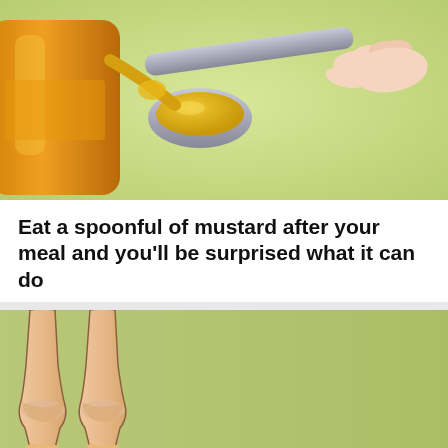[Figure (illustration): Illustration of a spoonful of yellow mustard being poured from an orange mustard container, on a light green background. A hand holds the spoon.]
Eat a spoonful of mustard after your meal and you'll be surprised what it can do
BY STACEY MATTISH
[Figure (illustration): Illustration comparing swollen legs and ankles (before, on left) to slimmer, healthier legs and ankles (after, on right) with two red arrows pointing right, on a green background with a white divider stripe.]